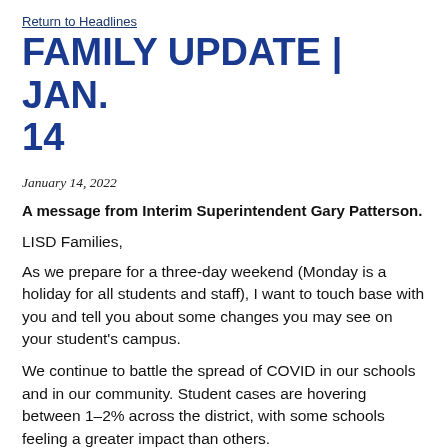Return to Headlines
FAMILY UPDATE | JAN. 14
January 14, 2022
A message from Interim Superintendent Gary Patterson.
LISD Families,
As we prepare for a three-day weekend (Monday is a holiday for all students and staff), I want to touch base with you and tell you about some changes you may see on your student's campus.
We continue to battle the spread of COVID in our schools and in our community. Student cases are hovering between 1-2% across the district, with some schools feeling a greater impact than others.